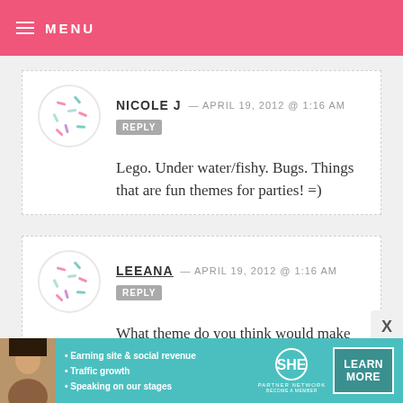MENU
NICOLE J — APRIL 19, 2012 @ 1:16 AM  REPLY
Lego. Under water/fishy. Bugs. Things that are fun themes for parties! =)
LEEANA — APRIL 19, 2012 @ 1:16 AM  REPLY
What theme do you think would make for a fun dessert table?
-Neon hearts!
[Figure (infographic): SHE Partner Network advertisement banner with photo of woman, bullet points about earning site and social revenue, traffic growth, speaking on stages, SHE logo, and LEARN MORE button]